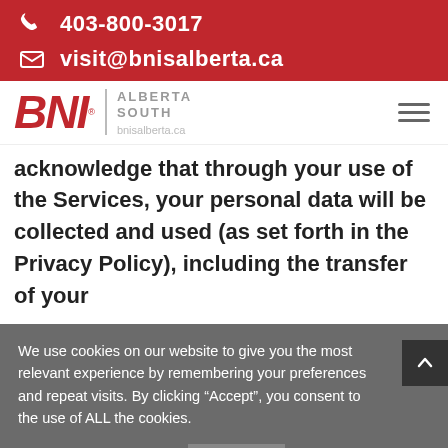403-800-3017
visit@bnisalberta.ca
[Figure (logo): BNI Alberta South logo with text 'bnisalberta.ca']
acknowledge that through your use of the Services, your personal data will be collected and used (as set forth in the Privacy Policy), including the transfer of your
We use cookies on our website to give you the most relevant experience by remembering your preferences and repeat visits. By clicking “Accept”, you consent to the use of ALL the cookies.
Cookie, Privacy, Terms
I Accept
Read our Cookie, Privacy, and Site Terms